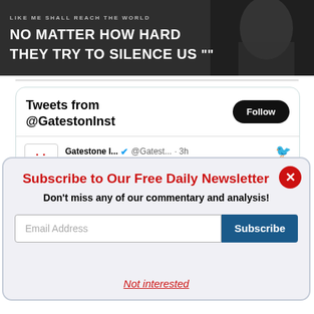[Figure (photo): Dark banner with silhouette and white text reading 'LIKE ME SHALL REACH THE WORLD / NO MATTER HOW HARD THEY TRY TO SILENCE US']
[Figure (screenshot): Twitter widget showing Tweets from @GatestonInst with a Follow button and a tweet from Gatestone I... @Gatest... 3h about Chinese military researchers recently]
Subscribe to Our Free Daily Newsletter
Don't miss any of our commentary and analysis!
Email Address
Subscribe
Not interested